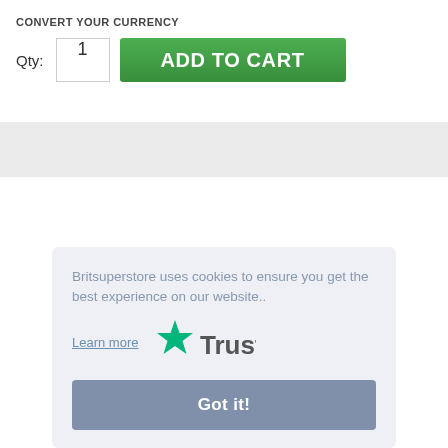CONVERT YOUR CURRENCY
Qty: 1  ADD TO CART
Britsuperstore uses cookies to ensure you get the best experience on our website..
Learn more
[Figure (logo): Trustpilot logo with green star]
Got it!